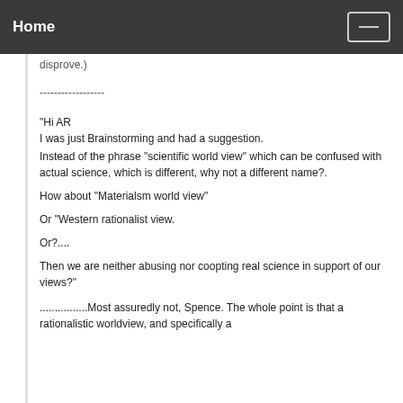Home
disprove.)
------------------
"Hi AR
I was just Brainstorming and had a suggestion.

Instead of the phrase "scientific world view" which can be confused with actual science, which is different, why not a different name?.

How about "Materialsm world view"

Or "Western rationalist view.

Or?....

Then we are neither abusing nor coopting real science in support of our views?"
................Most assuredly not, Spence. The whole point is that a rationalistic worldview, and specifically a